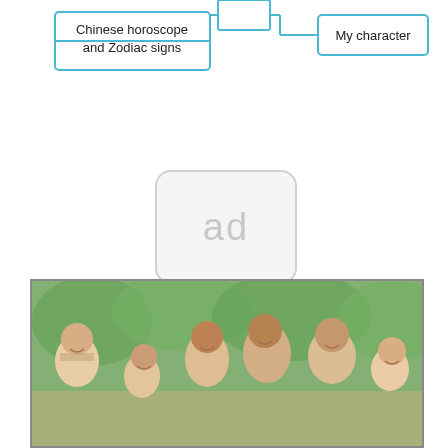[Figure (flowchart): Flowchart with three boxes connected by lines. Left box: 'Chinese horoscope and Zodiac signs'. Center-top: empty box. Right box: 'My character'. Lines connect center-top box to both left and right boxes.]
[Figure (other): Advertisement placeholder showing the letters 'ad' in a rounded rectangle]
[Figure (photo): Photograph of a multi-generational family group of seven people (grandparents, parents, and children) smiling and laughing together outdoors with green trees in background.]